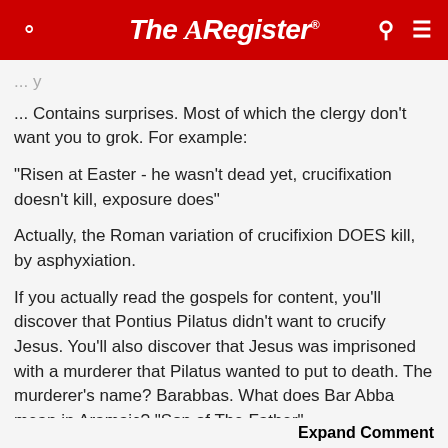The Register
... Contains surprises. Most of which the clergy don't want you to grok. For example:
"Risen at Easter - he wasn't dead yet, crucifixation doesn't kill, exposure does"
Actually, the Roman variation of crucifixion DOES kill, by asphyxiation.
If you actually read the gospels for content, you'll discover that Pontius Pilatus didn't want to crucify Jesus. You'll also discover that Jesus was imprisoned with a murderer that Pilatus wanted to put to death. The murderer's name? Barabbas. What does Bar Abba mean in Aramaic? "Son of The Father".
Now, nobody was allowed to speak the name of...
Expand Comment